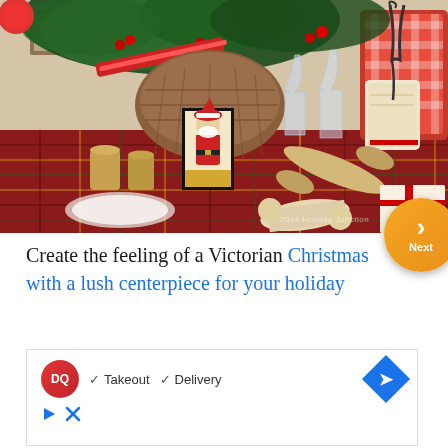[Figure (photo): Christmas holiday table setting with Victorian-style decorations including pine greenery centerpiece, red plaid/tartan tablecloth, Santa Claus framed picture, gold crackers, wine glasses, mercury glass candle holders, and wrapped gifts with red ribbons.]
Create the feeling of a Victorian Christmas with a lush centerpiece for your holiday
[Figure (screenshot): Advertisement for Dairy Queen (DQ) showing logo, checkmarks for Takeout and Delivery options, a navigation/directions icon, and small play/close icons.]